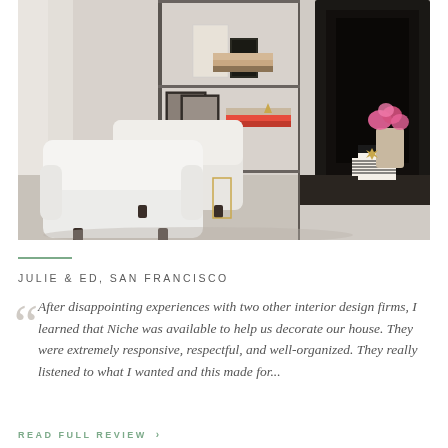[Figure (photo): Interior design photo showing a living room with two white upholstered armchairs, a dark metal bookshelf with framed photos and books, and a dark fireplace surround with pink flowers and a gold decorative star on stacked books.]
JULIE & ED, SAN FRANCISCO
After disappointing experiences with two other interior design firms, I learned that Niche was available to help us decorate our house. They were extremely responsive, respectful, and well-organized. They really listened to what I wanted and this made for...
READ FULL REVIEW →